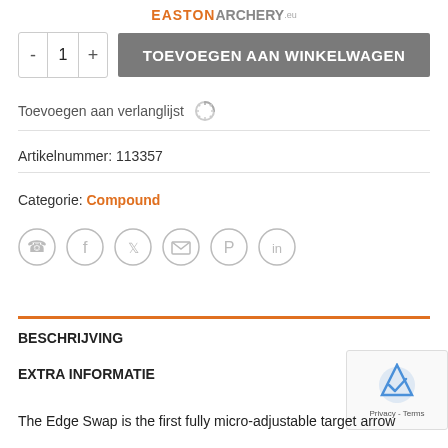Easton Archery
[Figure (screenshot): Add to cart area with quantity selector (-, 1, +) and grey button 'TOEVOEGEN AAN WINKELWAGEN']
Toevoegen aan verlanglijst
Artikelnummer: 113357
Categorie: Compound
[Figure (other): Social share icons: WhatsApp, Facebook, Twitter, Email, Pinterest, LinkedIn]
BESCHRIJVING
EXTRA INFORMATIE
The Edge Swap is the first fully micro-adjustable target arrow